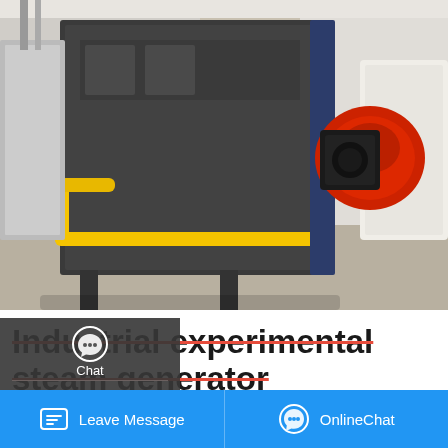[Figure (photo): Industrial steam boiler/generator in a facility, showing a large metal boiler unit with yellow pipe fittings and a red burner component attached.]
Industrial experimental steam generator
Industrial Agent 8t Biomass Condensing Boiler Georgia. Fangkuai Boiler Co., Ltd. is a high-tech enterprise integrating research and development, manufacturing and sales of gas hot water boilers, gas steam boilers, oil gas boilers, vacuum hot water boilers and clean combustion technology boilers.
[Figure (screenshot): Save Stickers on WhatsApp popup banner with WhatsApp and WeChat icons]
Leave Message   OnlineChat